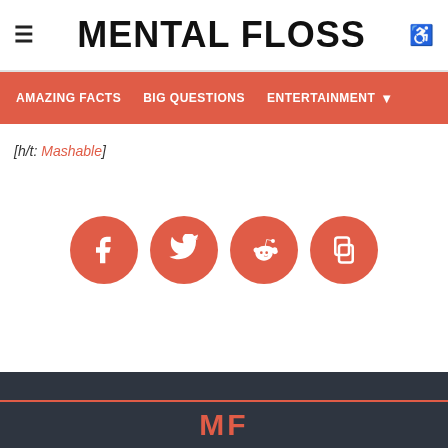MENTAL FLOSS
AMAZING FACTS  BIG QUESTIONS  ENTERTAINMENT
[h/t: Mashable]
[Figure (infographic): Four salmon/coral colored circular social media share buttons: Facebook (f), Twitter (bird), Reddit (alien), and a copy/share icon]
MF